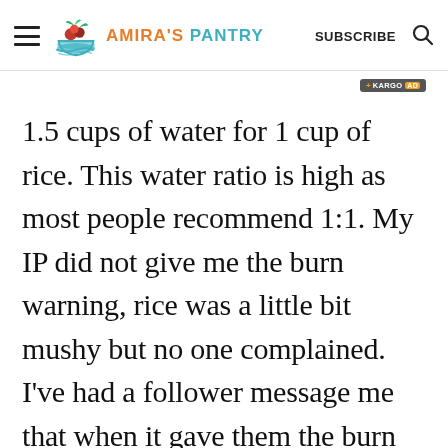AMIRA'S PANTRY — SUBSCRIBE
1.5 cups of water for 1 cup of rice. This water ratio is high as most people recommend 1:1. My IP did not give me the burn warning, rice was a little bit mushy but no one complained. I've had a follower message me that when it gave them the burn warning, they turned their